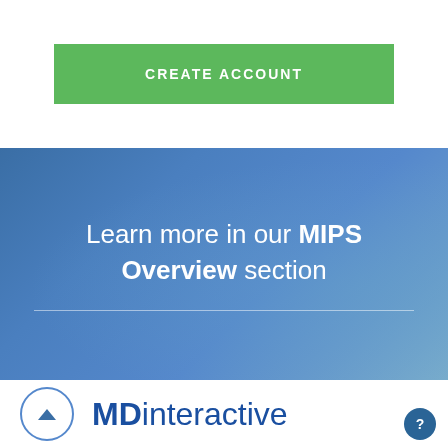[Figure (screenshot): Green 'CREATE ACCOUNT' button on white background]
[Figure (screenshot): Blue banner with text 'Learn more in our MIPS Overview section' with a horizontal divider line below the text]
[Figure (logo): MDinteractive logo with circular up-arrow button on the left and a help circle button on the bottom right]